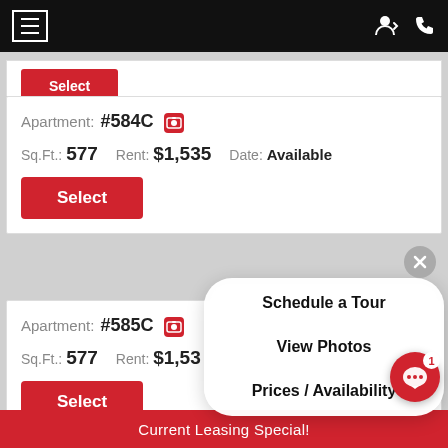Navigation bar with hamburger menu and user/phone icons
Apartment: #584C  Sq.Ft.: 577  Rent: $1,535  Date: Available
Select
Schedule a Tour
View Photos
Prices / Availability
Apartment: #585C  Sq.Ft.: 577  Rent: $1,535
Select
Current Leasing Special!